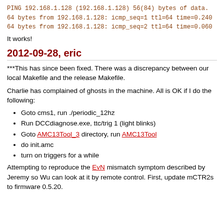PING 192.168.1.128 (192.168.1.128) 56(84) bytes of data.
64 bytes from 192.168.1.128: icmp_seq=1 ttl=64 time=0.240
64 bytes from 192.168.1.128: icmp_seq=2 ttl=64 time=0.060
It works!
2012-09-28, eric
***This has since been fixed. There was a discrepancy between our local Makefile and the release Makefile.
Charlie has complained of ghosts in the machine. All is OK if I do the following:
Goto cms1, run ./periodic_12hz
Run DCCdiagnose.exe, ttc/trig 1 (light blinks)
Goto AMC13Tool_3 directory, run AMC13Tool
do init.amc
turn on triggers for a while
Attempting to reproduce the EvN mismatch symptom described by Jeremy so Wu can look at it by remote control. First, update mCTR2s to firmware 0.5.20.